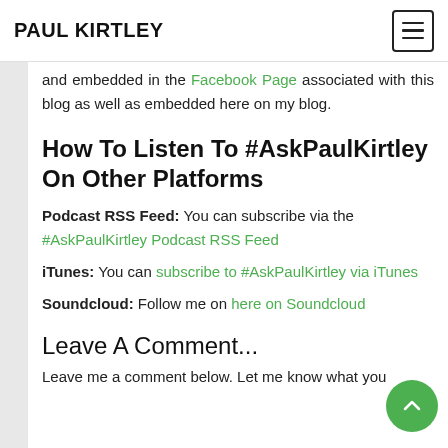PAUL KIRTLEY
and embedded in the Facebook Page associated with this blog as well as embedded here on my blog.
How To Listen To #AskPaulKirtley On Other Platforms
Podcast RSS Feed: You can subscribe via the #AskPaulKirtley Podcast RSS Feed
iTunes: You can subscribe to #AskPaulKirtley via iTunes
Soundcloud: Follow me on here on Soundcloud
Leave A Comment...
Leave me a comment below. Let me know what you